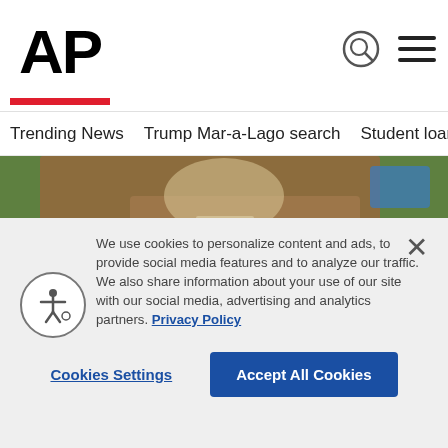AP
Trending News   Trump Mar-a-Lago search   Student loans   U.S.
[Figure (photo): Aerial view of Mar-a-Lago estate in Palm Beach, Florida, showing a swimming pool surrounded by palm trees, green lawns, and terracotta rooftops]
We use cookies to personalize content and ads, to provide social media features and to analyze our traffic. We also share information about your use of our site with our social media, advertising and analytics partners. Privacy Policy
Cookies Settings   Accept All Cookies